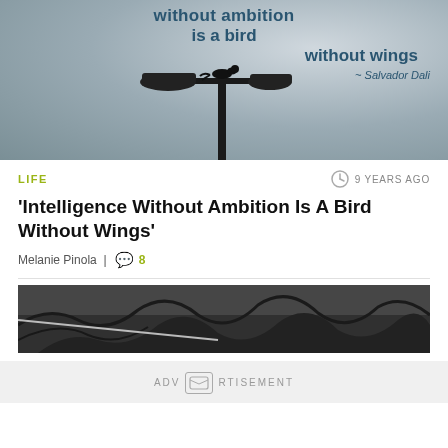[Figure (photo): Black and white photo of a bird sitting atop a street lamp post against a cloudy sky, with overlaid quote text in blue: 'without ambition is a bird without wings ~ Salvador Dali']
LIFE
9 YEARS AGO
'Intelligence Without Ambition Is A Bird Without Wings'
Melanie Pinola  |  8
[Figure (photo): Black and white photo of bare tree branches]
ADVERTISEMENT